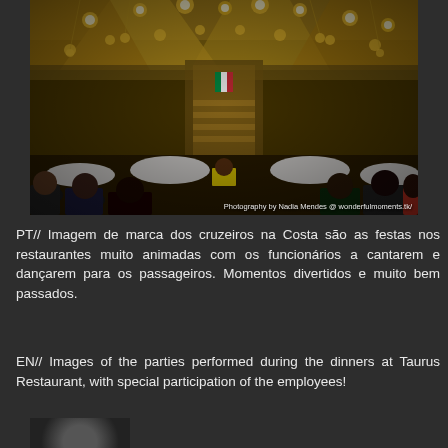[Figure (photo): Interior of a cruise ship restaurant with many guests seated at white-clothed tables, golden globe lights hanging from the ceiling, a staircase in the background with an Italian flag, and a performer on stage. Photo credit: Photography by Nadia Mendes @ wonderfulmoments.tk/]
PT// Imagem de marca dos cruzeiros na Costa são as festas nos restaurantes muito animadas com os funcionários a cantarem e dançarem para os passageiros. Momentos divertidos e muito bem passados.
EN// Images of the parties performed during the dinners at Taurus Restaurant, with special participation of the employees!
[Figure (photo): Partial view of another photo at the bottom of the page.]